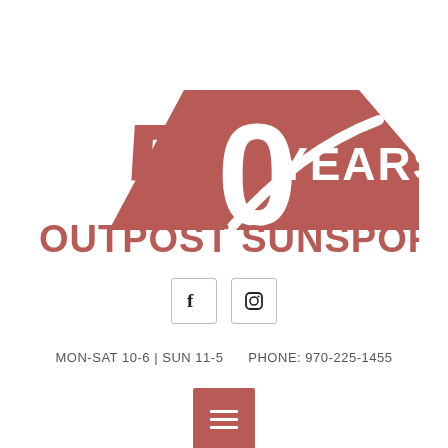[Figure (logo): Outpost Sunsport 50 Years logo — large '50' numeral with mountain/road shape behind it, text 'YEARS' and 'OUTPOST SUNSPORT' in dusty rose/terracotta color]
[Figure (infographic): Two social media icons in light-bordered boxes: Facebook 'f' icon and Instagram camera icon]
MON-SAT 10-6 | SUN 11-5     PHONE: 970-225-1455
[Figure (other): Hamburger menu button — terracotta/dusty-rose square button with three white horizontal lines]